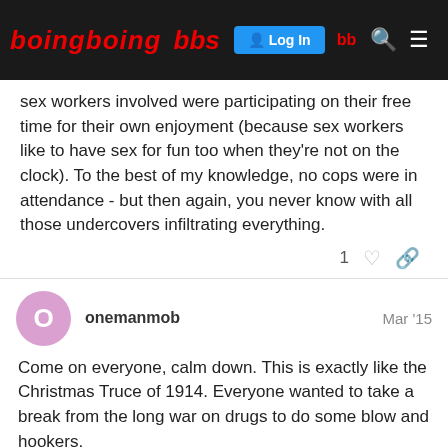Boing Boing BBS
sex workers involved were participating on their free time for their own enjoyment (because sex workers like to have sex for fun too when they're not on the clock). To the best of my knowledge, no cops were in attendance - but then again, you never know with all those undercovers infiltrating everything.
onemanmob  Mar '15
Come on everyone, calm down. This is exactly like the Christmas Truce of 1914. Everyone wanted to take a break from the long war on drugs to do some blow and hookers.
[Figure (screenshot): Wikipedia link card showing en.wikipedia.org with a W logo and a partial thumbnail image]